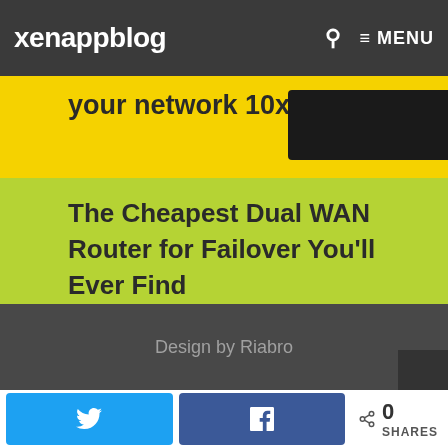xenappblog
your network 10x faster
177 views
The Cheapest Dual WAN Router for Failover You'll Ever Find
177 views
Download and Install Latest Adobe Acrobat Reader DC Continuous Release
176 views
Design by Riabro
0 SHARES